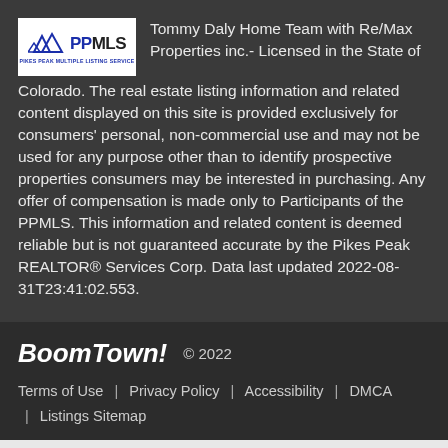[Figure (logo): Pikes Peak Multiple Listing Service logo with mountain graphic and PPMLS text]
Tommy Daly Home Team with Re/Max Properties inc.- Licensed in the State of Colorado. The real estate listing information and related content displayed on this site is provided exclusively for consumers' personal, non-commercial use and may not be used for any purpose other than to identify prospective properties consumers may be interested in purchasing. Any offer of compensation is made only to Participants of the PPMLS. This information and related content is deemed reliable but is not guaranteed accurate by the Pikes Peak REALTOR® Services Corp. Data last updated 2022-08-31T23:41:02.553.
BoomTown! © 2022
Terms of Use | Privacy Policy | Accessibility | DMCA | Listings Sitemap